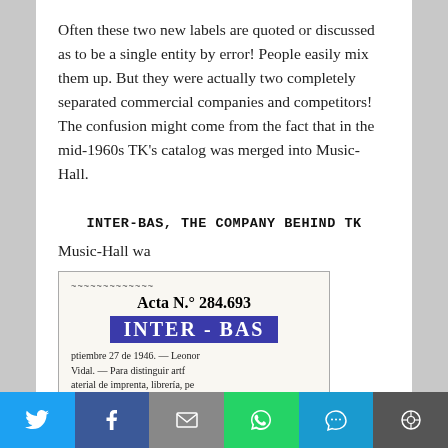Often these two new labels are quoted or discussed as to be a single entity by error! People easily mix them up. But they were actually two completely separated commercial companies and competitors! The confusion might come from the fact that in the mid-1960s TK's catalog was merged into Music-Hall.
INTER-BAS, THE COMPANY BEHIND TK
Music-Hall wa
[Figure (photo): Scanned document image showing 'Acta N.° 284.693' header with 'INTER - BAS' in a blue highlighted box, followed by Spanish text about September 27, 1948, mentioning Leonor Vidal and items related to printing, bookbinding, typewriters, inks, etc.]
Social sharing bar with Twitter, Facebook, Email, WhatsApp, SMS, and More buttons